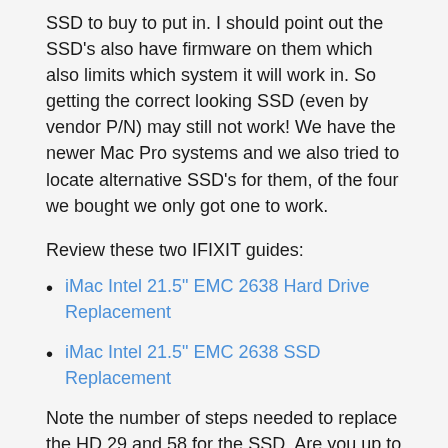SSD to buy to put in. I should point out the SSD's also have firmware on them which also limits which system it will work in. So getting the correct looking SSD (even by vendor P/N) may still not work! We have the newer Mac Pro systems and we also tried to locate alternative SSD's for them, of the four we bought we only got one to work.
Review these two IFIXIT guides:
iMac Intel 21.5" EMC 2638 Hard Drive Replacement
iMac Intel 21.5" EMC 2638 SSD Replacement
Note the number of steps needed to replace the HD 29 and 58 for the SSD. Are you up to this much work? Do you have the needed skills and tools?
OK, as to using an external SSD to marry with your internal HD: I would hold off that direction. Instead I